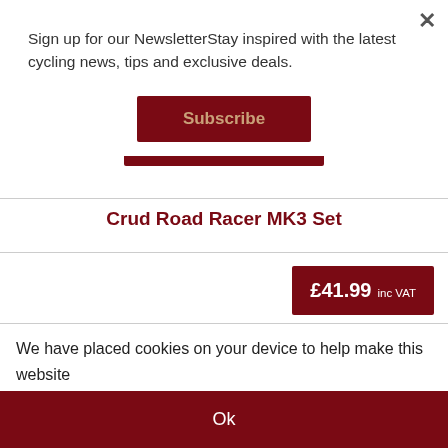Sign up for our NewsletterStay inspired with the latest cycling news, tips and exclusive deals.
Subscribe
Crud Road Racer MK3 Set
£41.99 inc VAT
We have placed cookies on your device to help make this website better.
Ok